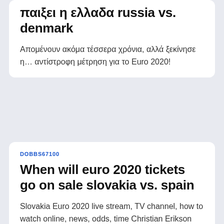παιξει η ελλαδα russia vs. denmark
Απομένουν ακόμα τέσσερα χρόνια, αλλά ξεκίνησε η… αντίστροφη μέτρηση για το Euro 2020!
DOBBS67100
When will euro 2020 tickets go on sale slovakia vs. spain
Slovakia Euro 2020 live stream, TV channel, how to watch online, news, odds, time Christian Erikson suffered a cardiac arrest and "was gone"